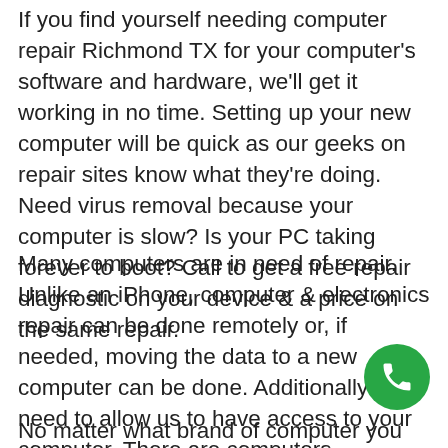If you find yourself needing computer repair Richmond TX for your computer's software and hardware, we'll get it working in no time. Setting up your new computer will be quick as our geeks on repair sites know what they're doing. Need virus removal because your computer is slow? Is your PC taking forever to boot? Call to get a free repair diagnostic on your device & a price on the same repair.
Many computers are in need of repair. Unlike an iPhone, computer & electronics repair can be done remotely or, if needed, moving the data to a new computer can be done. Additionally you'll need to allow us to have access to your computer. There are computers technicians who are experts in the repair and upgrading of components, but none are as good as us!
[Figure (other): Green circular phone/call button with white telephone handset icon]
No matter what brand of computer you have, all repairs